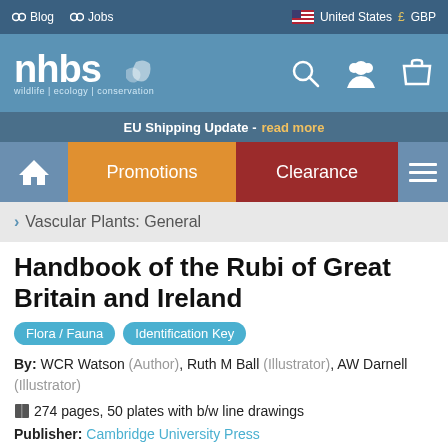Blog  Jobs  United States  GBP
[Figure (logo): NHBS wildlife ecology conservation logo with navigation icons]
EU Shipping Update - read more
Promotions  Clearance  Home  Menu
> Vascular Plants: General
Handbook of the Rubi of Great Britain and Ireland
Flora / Fauna  Identification Key
By: WCR Watson (Author), Ruth M Ball (Illustrator), AW Darnell (Illustrator)
274 pages, 50 plates with b/w line drawings
Publisher: Cambridge University Press
Edition: